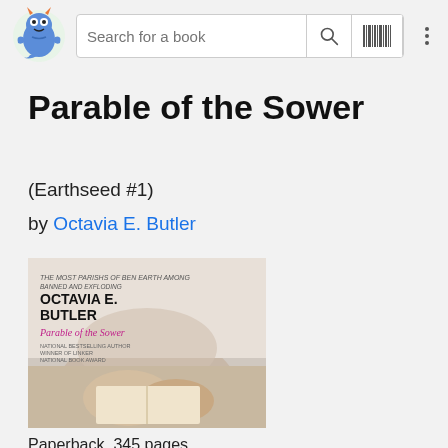[Figure (logo): Colorful animal/monster logo for a book app]
Search for a book
Parable of the Sower
(Earthseed #1)
by Octavia E. Butler
[Figure (photo): Book cover of Parable of the Sower by Octavia E. Butler showing a person's hands holding an open book, with the author's name and title in bold text]
Paperback, 345 pages